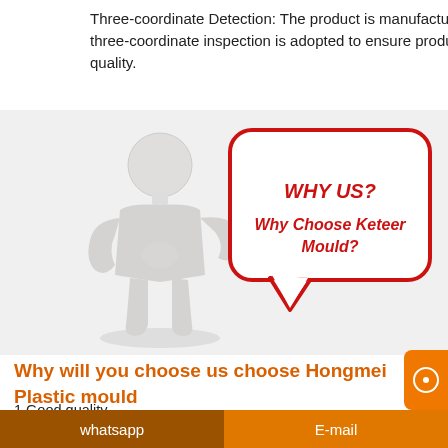Three-coordinate Detection: The product is manufactured, and three-coordinate inspection is adopted to ensure product quality.
[Figure (illustration): A 3D white figure person standing and pointing to a speech bubble. The speech bubble contains text 'WHY US?' and 'Why Choose Keteer Mould?' in red bold italic text. The bubble has a red border on a light gray background.]
Why will you choose us choose Hongmei Plastic mould
1.Good quality
2.Punctual delivery time
3.Competitive prices
4.Excellent after sale service
whatsapp    E-mail